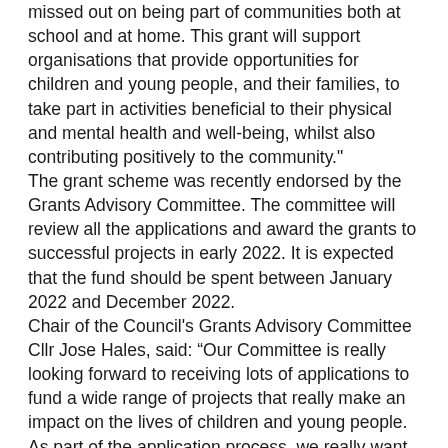missed out on being part of communities both at school and at home. This grant will support organisations that provide opportunities for children and young people, and their families, to take part in activities beneficial to their physical and mental health and well-being, whilst also contributing positively to the community."
The grant scheme was recently endorsed by the Grants Advisory Committee. The committee will review all the applications and award the grants to successful projects in early 2022. It is expected that the fund should be spent between January 2022 and December 2022.
Chair of the Council's Grants Advisory Committee Cllr Jose Hales, said: “Our Committee is really looking forward to receiving lots of applications to fund a wide range of projects that really make an impact on the lives of children and young people. As part of the application process, we really want to see how groups will have a positive impact on not just young people but also on their families and the wider community."